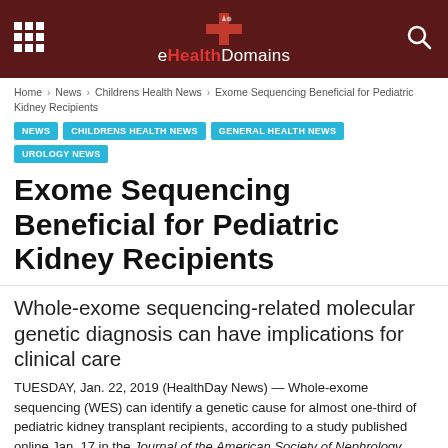eHealthDomains
Home › News › Childrens Health News › Exome Sequencing Beneficial for Pediatric Kidney Recipients
NEWS
CHILDRENS HEALTH NEWS
GENERAL HEALTH NEWS
UROLOGY NEWS
Exome Sequencing Beneficial for Pediatric Kidney Recipients
Whole-exome sequencing-related molecular genetic diagnosis can have implications for clinical care
TUESDAY, Jan. 22, 2019 (HealthDay News) — Whole-exome sequencing (WES) can identify a genetic cause for almost one-third of pediatric kidney transplant recipients, according to a study published online Jan. 17 in the Journal of the American Society of Nephrology.